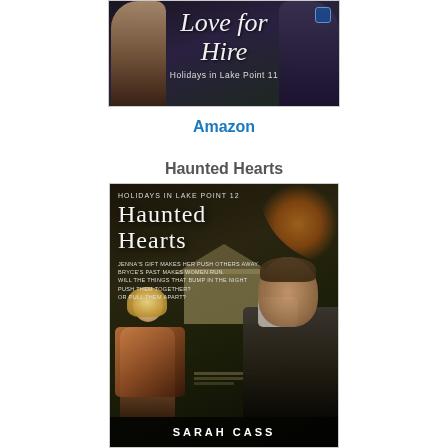[Figure (illustration): Book cover for 'Love for Hire - Holidays in Lake Point 11' showing script title text on a dark background with figures of a woman and man]
Amazon
Haunted Hearts
[Figure (illustration): Book cover for 'Haunted Hearts - Holidays in Lake Point 12' by Sarah Cass. Shows a blonde woman and a dark-haired man against a haunted house background. Tagline: JENNA'S GIFT MAKES HER PUSH OTHERS AWAY. BRYCE'S PAST MAKES WOMEN RUN. WILL THE THINGS THAT BUMP IN THE NIGHT PUSH THEM TOGETHER? OR PULL THEM APART?]